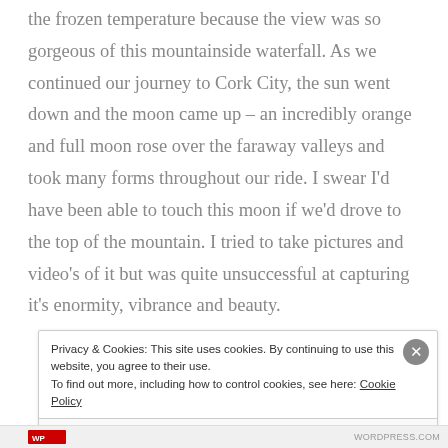the frozen temperature because the view was so gorgeous of this mountainside waterfall. As we continued our journey to Cork City, the sun went down and the moon came up – an incredibly orange and full moon rose over the faraway valleys and took many forms throughout our ride. I swear I'd have been able to touch this moon if we'd drove to the top of the mountain. I tried to take pictures and video's of it but was quite unsuccessful at capturing it's enormity, vibrance and beauty.
Privacy & Cookies: This site uses cookies. By continuing to use this website, you agree to their use. To find out more, including how to control cookies, see here: Cookie Policy
Close and accept